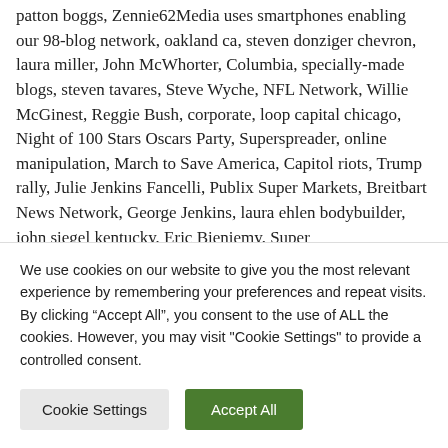patton boggs, Zennie62Media uses smartphones enabling our 98-blog network, oakland ca, steven donziger chevron, laura miller, John McWhorter, Columbia, specially-made blogs, steven tavares, Steve Wyche, NFL Network, Willie McGinest, Reggie Bush, corporate, loop capital chicago, Night of 100 Stars Oscars Party, Superspreader, online manipulation, March to Save America, Capitol riots, Trump rally, Julie Jenkins Fancelli, Publix Super Markets, Breitbart News Network, George Jenkins, laura ehlen bodybuilder, john siegel kentucky, Eric Bieniemy, Super
We use cookies on our website to give you the most relevant experience by remembering your preferences and repeat visits. By clicking “Accept All”, you consent to the use of ALL the cookies. However, you may visit "Cookie Settings" to provide a controlled consent.